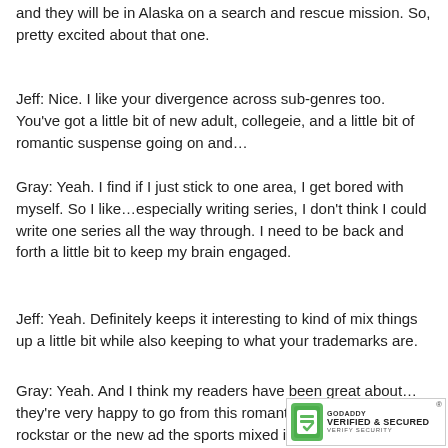and they will be in Alaska on a search and rescue mission. So, pretty excited about that one.
Jeff: Nice. I like your divergence across sub-genres too. You've got a little bit of new adult, collegeie, and a little bit of romantic suspense going on and…
Gray: Yeah. I find if I just stick to one area, I get bored with myself. So I like…especially writing series, I don't think I could write one series all the way through. I need to be back and forth a little bit to keep my brain engaged.
Jeff: Yeah. Definitely keeps it interesting to kind of mix things up a little bit while also keeping to what your trademarks are.
Gray: Yeah. And I think my readers have been great about…they're very happy to go from this romantic suspense to the rockstar or the new ad the sports mixed in. It's been great.
[Figure (logo): GoDaddy Verified & Secured badge in bottom right corner]